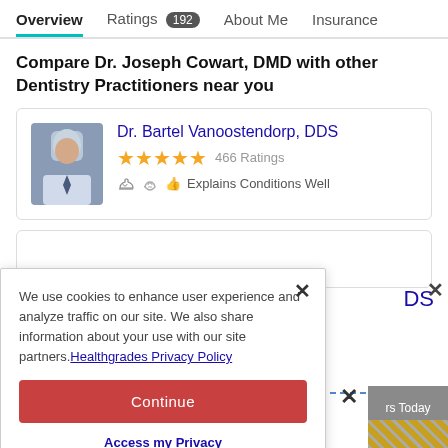Overview   Ratings 192   About Me   Insurance
Compare Dr. Joseph Cowart, DMD with other Dentistry Practitioners near you
[Figure (photo): Doctor card for Dr. Bartel Vanoostendorp, DDS with photo, 4.5 star rating (466 Ratings), and 'Explains Conditions Well' badge]
We use cookies to enhance user experience and analyze traffic on our site. We also share information about your use with our site partners.Healthgrades Privacy Policy
Continue
Access my Privacy Preferences